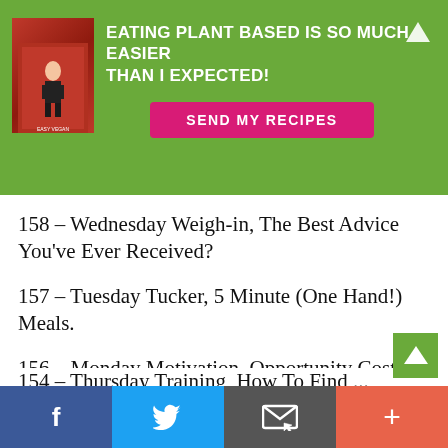[Figure (infographic): Green banner ad with book image, headline 'EATING PLANT BASED IS SO MUCH EASIER THAN I EXPECTED!' and pink button 'SEND MY RECIPES', with a white up-arrow icon top right]
158 – Wednesday Weigh-in, The Best Advice You've Ever Received?
157 – Tuesday Tucker, 5 Minute (One Hand!) Meals.
156 – Monday Motivation, Opportunity Cost.
155 – Friday FAQ, How To Stop Supermarket Sabotage.
[Figure (infographic): Green square back-to-top button with white chevron/caret icon]
[Figure (infographic): Bottom social share bar with Facebook (blue), Twitter (light blue), Email (dark gray), and Plus/More (orange-red) buttons]